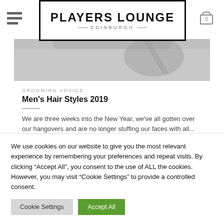PLAYERS LOUNGE EDINBURGH
[Figure (photo): Grayscale photo showing a person's shoulder/neck area with a necklace chain visible]
GROOMING ADVICE
Men's Hair Styles 2019
We are three weeks into the New Year, we've all gotten over our hangovers and are no longer stuffing our faces with all...
We use cookies on our website to give you the most relevant experience by remembering your preferences and repeat visits. By clicking "Accept All", you consent to the use of ALL the cookies. However, you may visit "Cookie Settings" to provide a controlled consent.